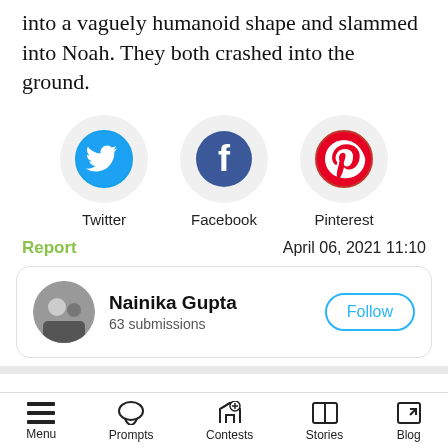into a vaguely humanoid shape and slammed into Noah. They both crashed into the ground.
[Figure (infographic): Three social media sharing icons in circles: Twitter (blue bird), Facebook (dark blue f), Pinterest (red p). Labels below each icon.]
Report
April 06, 2021 11:10
Nainika Gupta
63 submissions
Follow